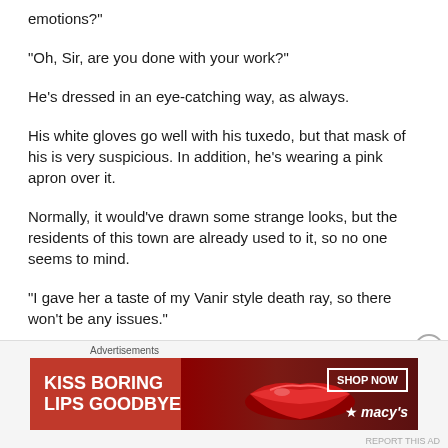emotions?”
“Oh, Sir, are you done with your work?”
He’s dressed in an eye-catching way, as always.
His white gloves go well with his tuxedo, but that mask of his is very suspicious. In addition, he’s wearing a pink apron over it.
Normally, it would’ve drawn some strange looks, but the residents of this town are already used to it, so no one seems to mind.
“I gave her a taste of my Vanir style death ray, so there won’t be any issues.”
[Figure (infographic): Advertisement banner: Macy's lip product ad with text 'KISS BORING LIPS GOODBYE' and 'SHOP NOW' button with Macy's star logo]